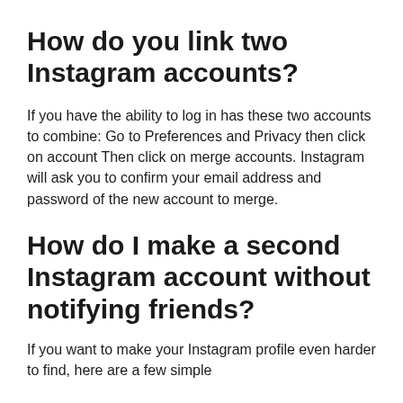How do you link two Instagram accounts?
If you have the ability to log in has these two accounts to combine: Go to Preferences and Privacy then click on account Then click on merge accounts. Instagram will ask you to confirm your email address and password of the new account to merge.
How do I make a second Instagram account without notifying friends?
If you want to make your Instagram profile even harder to find, here are a few simple